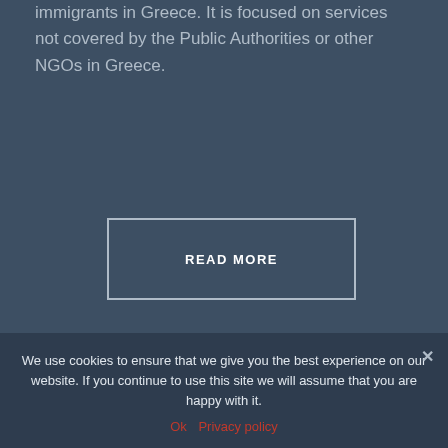immigrants in Greece. It is focused on services not covered by the Public Authorities or other NGOs in Greece.
READ MORE
LATEST NEWS
THE LOSS OF A VALUABLE MEMBER OF THE METADRASI FAMILY
16/08/2022
We use cookies to ensure that we give you the best experience on our website. If you continue to use this site we will assume that you are happy with it.
Ok   Privacy policy